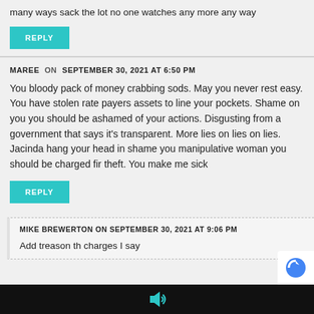many ways sack the lot no one watches any more any way
REPLY
MAREE  ON  SEPTEMBER 30, 2021 AT 6:50 PM
You bloody pack of money crabbing sods. May you never rest easy. You have stolen rate payers assets to line your pockets. Shame on you you should be ashamed of your actions. Disgusting from a government that says it's transparent. More lies on lies on lies. Jacinda hang your head in shame you manipulative woman you should be charged fir theft. You make me sick
REPLY
MIKE BREWERTON  ON  SEPTEMBER 30, 2021 AT 9:06 PM
Add treason th charges I say